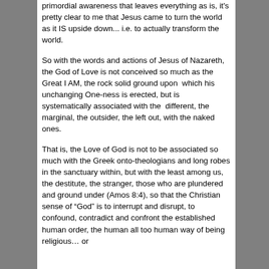primordial awareness that leaves everything as is, it's pretty clear to me that Jesus came to turn the world as it IS upside down... i.e. to actually transform the world.
So with the words and actions of Jesus of Nazareth, the God of Love is not conceived so much as the Great I AM, the rock solid ground upon  which his unchanging One-ness is erected, but is systematically associated with the  different, the marginal, the outsider, the left out, with the naked ones.
That is, the Love of God is not to be associated so much with the Greek onto-theologians and long robes in the sanctuary within, but with the least among us, the destitute, the stranger, those who are plundered and ground under (Amos 8:4), so that the Christian sense of “God” is to interrupt and disrupt, to confound, contradict and confront the established human order, the human all too human way of being religious… or